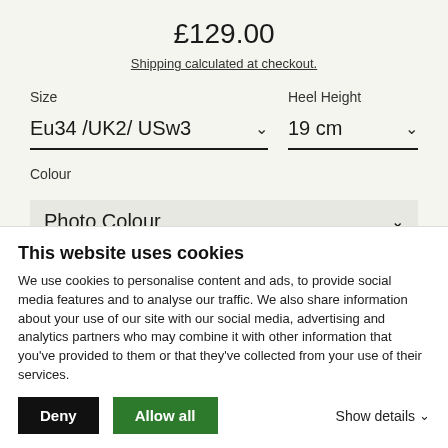£129.00
Shipping calculated at checkout.
Size
Heel Height
Eu34 /UK2/ USw3
19 cm
Colour
Photo Colour
This website uses cookies
We use cookies to personalise content and ads, to provide social media features and to analyse our traffic. We also share information about your use of our site with our social media, advertising and analytics partners who may combine it with other information that you've provided to them or that they've collected from your use of their services.
Deny
Allow all
Show details